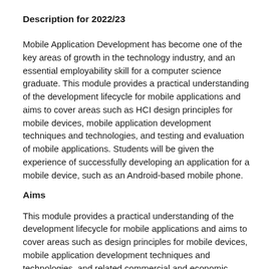Description for 2022/23
Mobile Application Development has become one of the key areas of growth in the technology industry, and an essential employability skill for a computer science graduate. This module provides a practical understanding of the development lifecycle for mobile applications and aims to cover areas such as HCI design principles for mobile devices, mobile application development techniques and technologies, and testing and evaluation of mobile applications. Students will be given the experience of successfully developing an application for a mobile device, such as an Android-based mobile phone.
Aims
This module provides a practical understanding of the development lifecycle for mobile applications and aims to cover areas such as design principles for mobile devices, mobile application development techniques and technologies, and related commercial and economic issues. Students will be given the experience of successfully developing an application for a mobile device, such as an Android-based mobile phone.